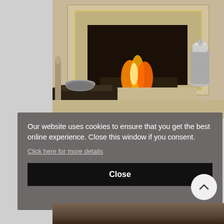[Figure (photo): Interior photo of a modern fireplace with marble surround, decorative silver bowl on coffee table, and silver urn beside fireplace with flames visible]
Our website uses cookies to ensure that you get the best online experience. Close this window if you consent.
Click here for more details
Close
[Figure (photo): Partial bottom strip of another interior fireplace photo]